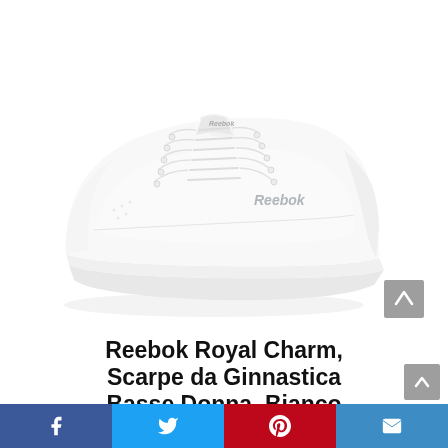[Figure (photo): White Reebok Royal Charm low-top women's sneaker on white background, side and top view, with Reebok logo visible on the side and tongue. White laces, white sole.]
Reebok Royal Charm, Scarpe da Ginnastica Basse Donna, Bianco
Facebook | Twitter | Pinterest | Email